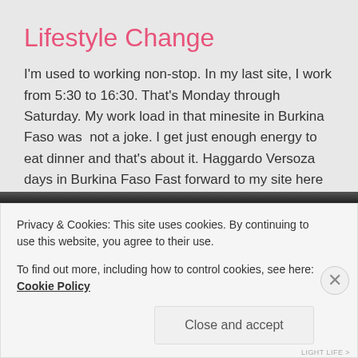Lifestyle Change
I'm used to working non-stop. In my last site, I work from 5:30 to 16:30. That's Monday through Saturday. My work load in that minesite in Burkina Faso was  not a joke. I get just enough energy to eat dinner and that's about it. Haggardo Versoza days in Burkina Faso Fast forward to my site here in Uganda. I barely do anything. For this month, …
Continue reading
SEPTEMBER 21, 2017  /  10 COMMENTS
Privacy & Cookies: This site uses cookies. By continuing to use this website, you agree to their use.
To find out more, including how to control cookies, see here: Cookie Policy
Close and accept